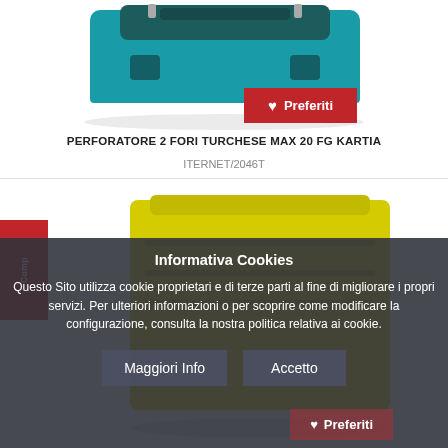[Figure (photo): Teal and black 2-hole punch (Perforatore 2 fori turchese max 20fg Kartia) product photo on white background]
♥ Preferiti
PERFORATORE 2 FORI TURCHESE MAX 20 FG KARTIA
ITERNET/2046T
[Figure (photo): Yellow folder/binder product photo on white background, partially obscured by cookie consent overlay]
Informativa Cookies
Questo Sito utilizza cookie proprietari e di terze parti al fine di migliorare i propri servizi. Per ulteriori informazioni o per scoprire come modificare la configurazione, consulta la nostra politica relativa ai cookie.
Maggiori Info
Accetto